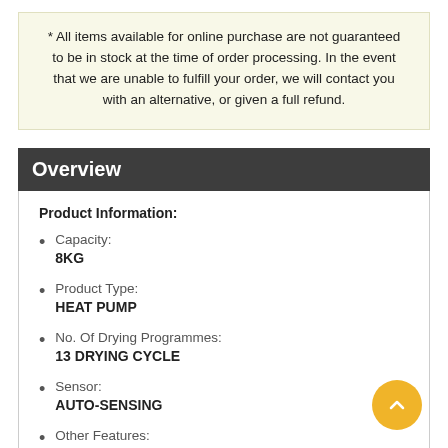* All items available for online purchase are not guaranteed to be in stock at the time of order processing. In the event that we are unable to fulfill your order, we will contact you with an alternative, or given a full refund.
Overview
Product Information:
Capacity: 8KG
Product Type: HEAT PUMP
No. Of Drying Programmes: 13 DRYING CYCLE
Sensor: AUTO-SENSING
Other Features: RACK EQUIP